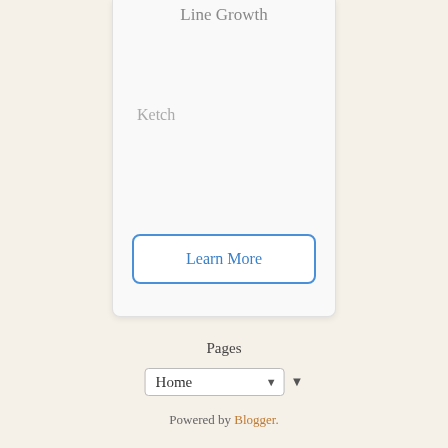Line Growth
Ketch
Learn More
Pages
Home
Powered by Blogger.